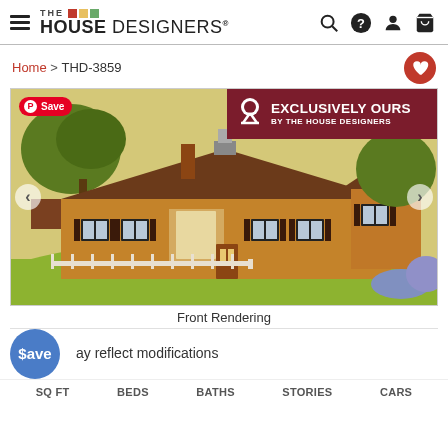The House Designers®
Home > THD-3859
[Figure (illustration): Front rendering illustration of a ranch-style house with 'Exclusively Ours by The House Designers' banner overlay. Pinterest Save button in top left corner. Left and right carousel arrows.]
Front Rendering
Plans may reflect modifications
SQ FT   BEDS   BATHS   STORIES   CARS